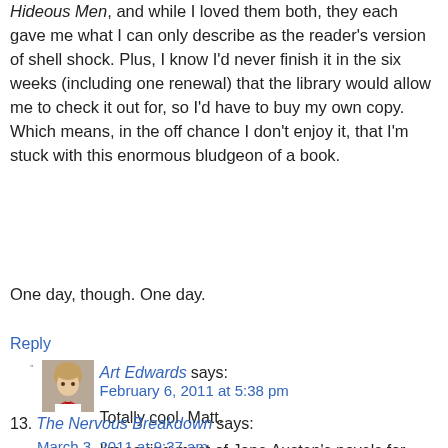Hideous Men, and while I loved them both, they each gave me what I can only describe as the reader's version of shell shock. Plus, I know I'd never finish it in the six weeks (including one renewal) that the library would allow me to check it out for, so I'd have to buy my own copy. Which means, in the off chance I don't enjoy it, that I'm stuck with this enormous bludgeon of a book.
One day, though. One day.
Reply
[Figure (photo): Small avatar photo of Art Edwards as a child in a bow tie]
Art Edwards says:
February 6, 2011 at 5:38 pm
Totally cool, Matt.
I'm saving most of Jane Austen's novels for later. There should be time.
Reply
13. The Nervous Breakdown says:
March 3, 2011 at 9:37 am